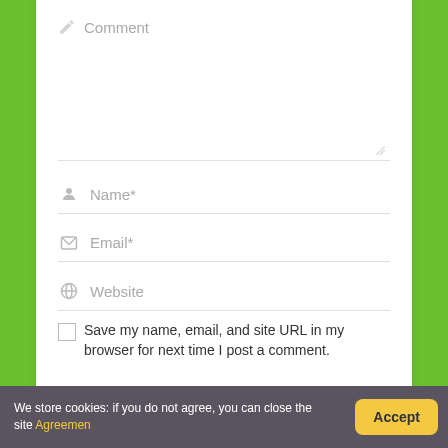[Figure (screenshot): Comment form with fields for Comment (textarea), Name*, Email*, Website, and a checkbox to save name/email/site URL. Green background with white card.]
Comment
Name*
Email*
Website
Save my name, email, and site URL in my browser for next time I post a comment.
We store cookies: if you do not agree, you can close the site Agreemen
Accept